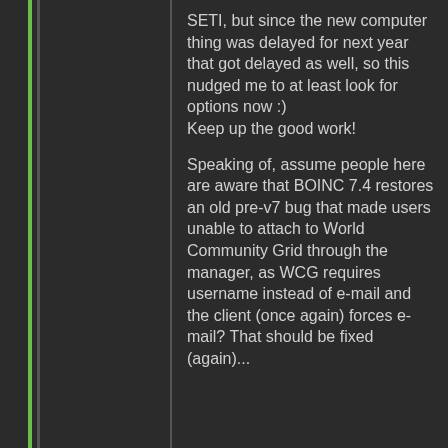SETI, but since the new computer thing was delayed for next year that got delayed as well, so this nudged me to at least look for options now :) Keep up the good work!
Speaking of, assume people here are aware that BOINC 7.4 restores an old pre-v7 bug that made users unable to attach to World Community Grid through the manager, as WCG requires username instead of e-mail and the client (once again) forces e-mail? That should be fixed (again)...